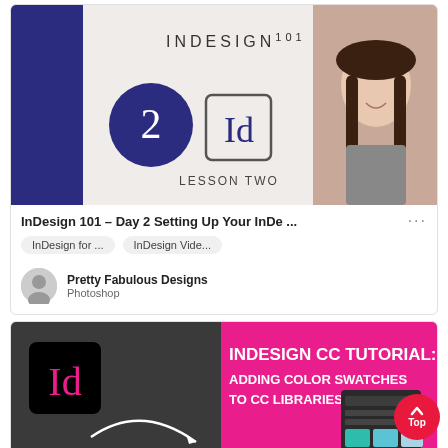[Figure (screenshot): InDesign 101 Lesson Two tutorial thumbnail showing a woman and InDesign logo]
InDesign 101 – Day 2 Setting Up Your InDe ... ...
InDesign for ...   InDesign Vide...
Pretty Fabulous Designs
Photoshop
[Figure (screenshot): InDesign CC Tutorial: Adding Color Swatches to CC Libraries thumbnail with pink and dark background]